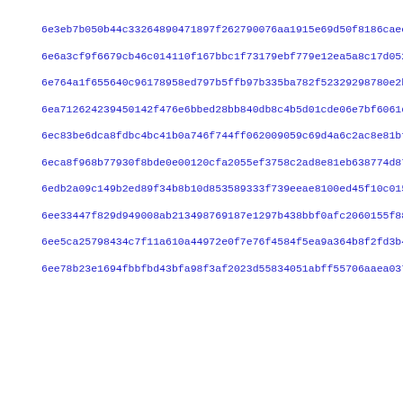6e3eb7b050b44c33264890471897f262790076aa1915e69d50f8186caec08f
6e6a3cf9f6679cb46c014110f167bbc1f73179ebf779e12ea5a8c17d05261
6e764a1f655640c96178958ed797b5ffb97b335ba782f52329298780e2b05
6ea712624239450142f476e6bbed28bb840db8c4b5d01cde06e7bf6061da4
6ec83be6dca8fdbc4bc41b0a746f744ff062009059c69d4a6c2ac8e81bf71
6eca8f968b77930f8bde0e00120cfa2055ef3758c2ad8e81eb638774d87af
6edb2a09c149b2ed89f34b8b10d853589333f739eeae8100ed45f10c01599
6ee33447f829d949008ab213498769187e1297b438bbf0afc2060155f8804
6ee5ca25798434c7f11a610a44972e0f7e76f4584f5ea9a364b8f2fd3b4c5
6ee78b23e1694fbbfbd43bfa98f3af2023d55834051abff55706aaea03742